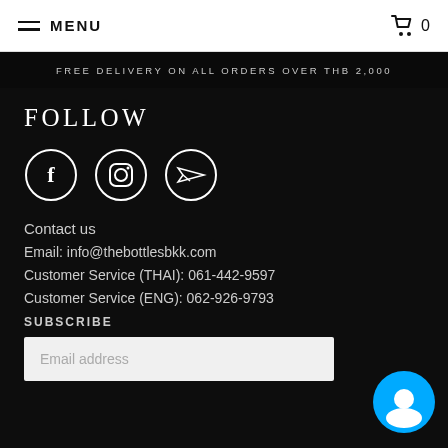MENU  0
FREE DELIVERY ON ALL ORDERS OVER THB 2,000
FOLLOW
[Figure (illustration): Three circular social media icons: Facebook (f), Instagram (camera), and Telegram (paper plane)]
Contact us
Email: info@thebottlesbkk.com
Customer Service (THAI): 061-442-9597
Customer Service (ENG): 062-926-9793
SUBSCRIBE
Email address